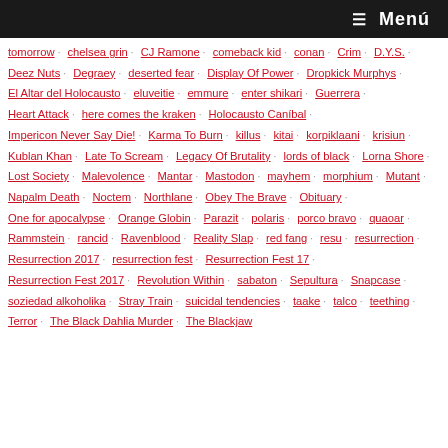≡ Menú
tomorrow · chelsea grin · CJ Ramone · comeback kid · conan · Crim · D.Y.S. · Deez Nuts · Degraey · deserted fear · Display Of Power · Dropkick Murphys · El Altar del Holocausto · eluveitie · emmure · enter shikari · Guerrera · Heart Attack · here comes the kraken · Holocausto Caníbal · Impericon Never Say Die! · Karma To Burn · killus · kitai · korpiklaani · krisiun · Kublan Khan · Late To Scream · Legacy Of Brutality · lords of black · Lorna Shore · Lost Society · Malevolence · Mantar · Mastodon · mayhem · morphium · Mutant · Napalm Death · Noctem · Northlane · Obey The Brave · Obituary · One for apocalypse · Orange Globin · Parazit · polaris · porco bravo · quaoar · Rammstein · rancid · Ravenblood · Reality Slap · red fang · resu · resurrection · Resurrection 2017 · resurrection fest · Resurrection Fest 17 · Resurrection Fest 2017 · Revolution Within · sabaton · Sepultura · Snapcase · soziedad alkoholika · Stray Train · suicidal tendencies · taake · talco · teething · Terror · The Black Dahlia Murder · The Blackjaw